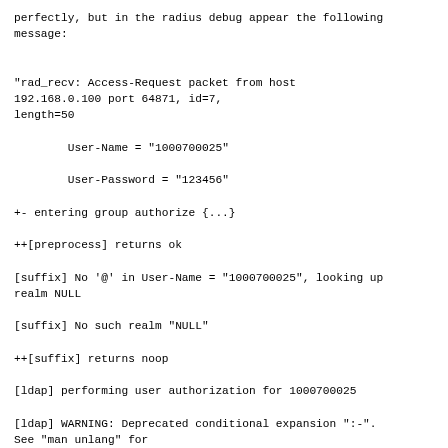perfectly, but in the radius debug appear the following message:
"rad_recv: Access-Request packet from host 192.168.0.100 port 64871, id=7, length=50

        User-Name = "1000700025"

        User-Password = "123456"

+- entering group authorize {...}

++[preprocess] returns ok

[suffix] No '@' in User-Name = "1000700025", looking up realm NULL

[suffix] No such realm "NULL"

++[suffix] returns noop

[ldap] performing user authorization for 1000700025

[ldap] WARNING: Deprecated conditional expansion ":-". See "man unlang" for details